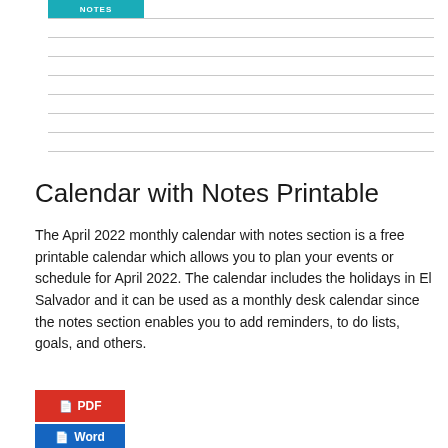[Figure (other): Notes section header tab in teal/cyan color labeled NOTES with horizontal ruled lines below it]
Calendar with Notes Printable
The April 2022 monthly calendar with notes section is a free printable calendar which allows you to plan your events or schedule for April 2022. The calendar includes the holidays in El Salvador and it can be used as a monthly desk calendar since the notes section enables you to add reminders, to do lists, goals, and others.
[Figure (other): PDF download button in red and Word download button in blue]